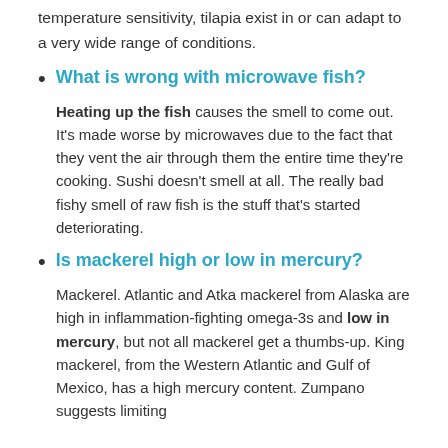temperature sensitivity, tilapia exist in or can adapt to a very wide range of conditions.
What is wrong with microwave fish?
Heating up the fish causes the smell to come out. It's made worse by microwaves due to the fact that they vent the air through them the entire time they're cooking. Sushi doesn't smell at all. The really bad fishy smell of raw fish is the stuff that's started deteriorating.
Is mackerel high or low in mercury?
Mackerel. Atlantic and Atka mackerel from Alaska are high in inflammation-fighting omega-3s and low in mercury, but not all mackerel get a thumbs-up. King mackerel, from the Western Atlantic and Gulf of Mexico, has a high mercury content. Zumpano suggests limiting